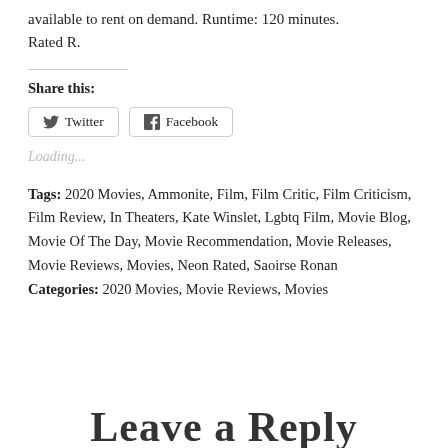available to rent on demand. Runtime: 120 minutes. Rated R.
Share this:
Twitter  Facebook
Loading...
Tags: 2020 Movies, Ammonite, Film, Film Critic, Film Criticism, Film Review, In Theaters, Kate Winslet, Lgbtq Film, Movie Blog, Movie Of The Day, Movie Recommendation, Movie Releases, Movie Reviews, Movies, Neon Rated, Saoirse Ronan
Categories: 2020 Movies, Movie Reviews, Movies
Leave a Reply